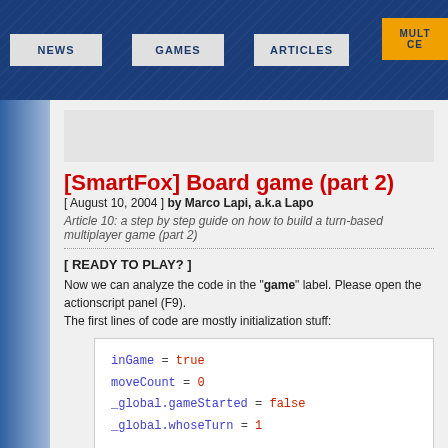NEWS | GAMES | ARTICLES | MULTI CE
[SmartFox] Board game (part 2)
[ August 10, 2004 ] by Marco Lapi, a.k.a Lapo
Article 10: a step by step guide on how to build a turn-based multiplayer game (part 2)
[ READY TO PLAY? ]
Now we can analyze the code in the "game" label. Please open the actionscript panel (F9). The first lines of code are mostly initialization stuff:
[Figure (screenshot): Code block showing: inGame = true, moveCount = 0, _global.gameStarted = false, _global.whoseTurn = 1]
The inGame flag is finally set, then the moveCount counter is initialized together with two more
_global.gameStarted: a flag that tells us if the game is started
_global.whoseTurn: a number telling whose player turn is